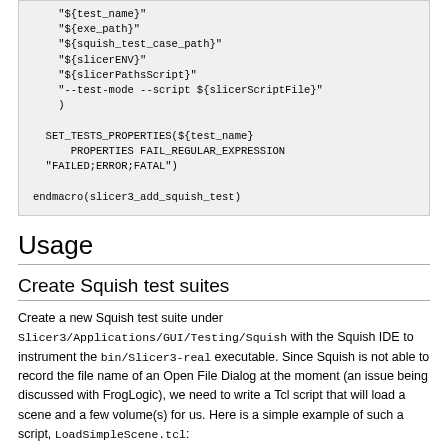"${test_name}"
    "${exe_path}"
    "${squish_test_case_path}"
    "${slicerENV}"
    "${slicerPathsScript}"
    "--test-mode --script ${slicerScriptFile}"
    )

  SET_TESTS_PROPERTIES(${test_name}
      PROPERTIES FAIL_REGULAR_EXPRESSION
  "FAILED;ERROR;FATAL")

endmacro(slicer3_add_squish_test)
Usage
Create Squish test suites
Create a new Squish test suite under Slicer3/Applications/GUI/Testing/Squish with the Squish IDE to instrument the bin/Slicer3-real executable. Since Squish is not able to record the file name of an Open File Dialog at the moment (an issue being discussed with FrogLogic), we need to write a Tcl script that will load a scene and a few volume(s) for us. Here is a simple example of such a script, LoadSimpleScene.tcl: